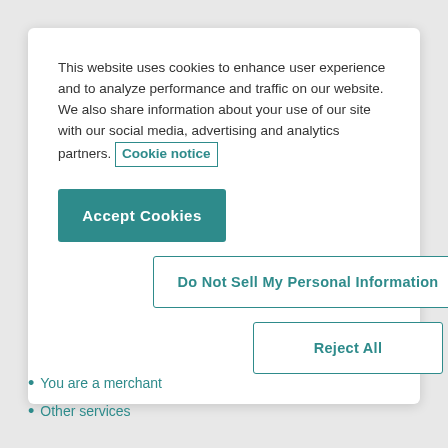This website uses cookies to enhance user experience and to analyze performance and traffic on our website. We also share information about your use of our site with our social media, advertising and analytics partners. Cookie notice
[Figure (screenshot): Accept Cookies button (teal filled), Do Not Sell My Personal Information button (teal outline), Reject All button (teal outline)]
You are a merchant
Other services